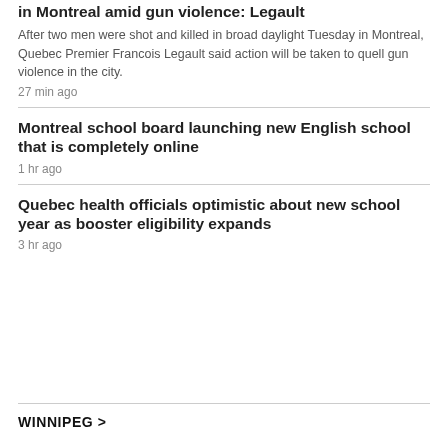in Montreal amid gun violence: Legault
After two men were shot and killed in broad daylight Tuesday in Montreal, Quebec Premier Francois Legault said action will be taken to quell gun violence in the city.
27 min ago
Montreal school board launching new English school that is completely online
1 hr ago
Quebec health officials optimistic about new school year as booster eligibility expands
3 hr ago
WINNIPEG >